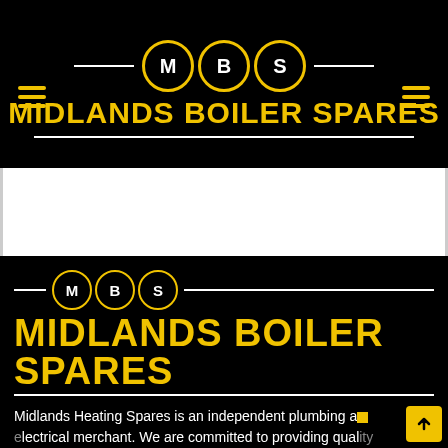[Figure (logo): Midlands Boiler Spares logo in header: three black circles with yellow borders containing letters M, B, S on a black background, with horizontal white lines on either side. Below reads 'MIDLANDS BOILER SPARES' in bold yellow text. Hamburger menu icons in yellow on left and right sides.]
[Figure (logo): Midlands Boiler Spares footer logo: three circles with M, B, S on black background with yellow borders and horizontal lines. Below reads 'MIDLANDS BOILER SPARES' in large bold yellow text.]
Midlands Heating Spares is an independent plumbing and electrical merchant. We are committed to providing quality